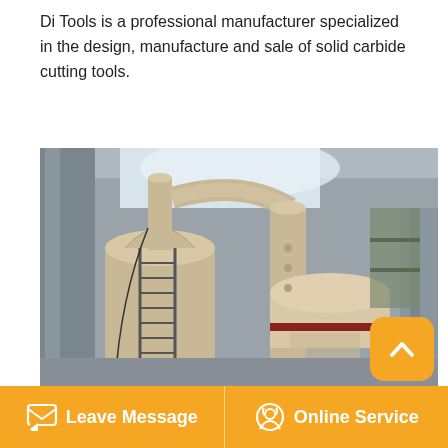Di Tools is a professional manufacturer specialized in the design, manufacture and sale of solid carbide cutting tools.
[Figure (photo): Industrial photo of a large grinding mill machine with cyclone dust collector and piping inside a factory building.]